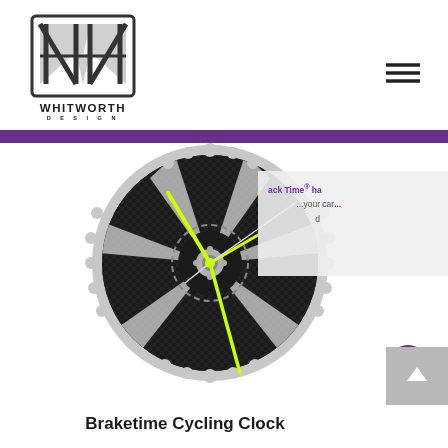[Figure (logo): Whitworth Design logo with geometric W mark above text WHITWORTH DESIGN]
[Figure (illustration): Hamburger menu icon (three horizontal lines)]
[Figure (photo): Braketime Cycling Clock - a bicycle brake disc rotor repurposed as a wall clock with carbon fiber face and neon yellow clock hands]
ack Time® ha...
...your car...
...d
Braketime Cycling Clock